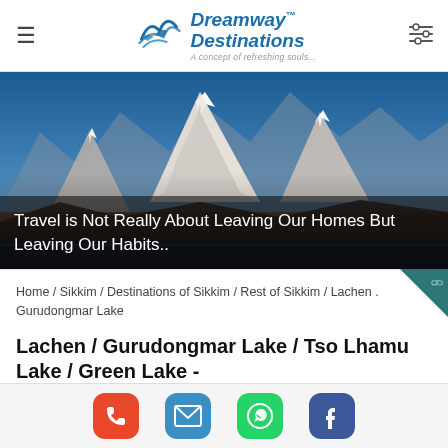Dreamway™ Destinations — A concept of refreshing souls...
[Figure (photo): Mountain landscape with snow-capped peaks under a blue sky, hero banner image for a travel website.]
Travel is Not Really About Leaving Our Homes But Leaving Our Habits..
Home / Sikkim / Destinations of Sikkim / Rest of Sikkim / Lachen . Gurudongmar Lake
Lachen / Gurudongmar Lake / Tso Lhamu Lake / Green Lake -
Heaven on earth is North Sikkim with diversity seen to be believed. Beautiful Lakes, Valley, Hot water spring, Rhododendron forest;
Phone | Email | WhatsApp | Facebook